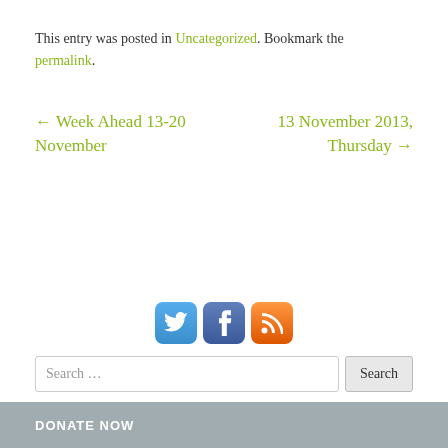This entry was posted in Uncategorized. Bookmark the permalink.
← Week Ahead 13-20 November
13 November 2013, Thursday →
[Figure (other): Social media icons: Twitter, Facebook, RSS]
Search ...
DONATE NOW